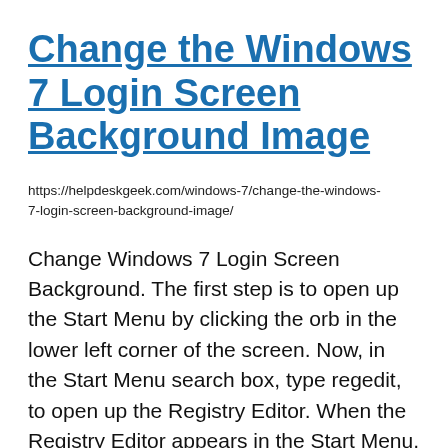Change the Windows 7 Login Screen Background Image
https://helpdeskgeek.com/windows-7/change-the-windows-7-login-screen-background-image/
Change Windows 7 Login Screen Background. The first step is to open up the Start Menu by clicking the orb in the lower left corner of the screen. Now, in the Start Menu search box, type regedit, to open up the Registry Editor. When the Registry Editor appears in the Start Menu, click the Enter key to launch it. You should see a window